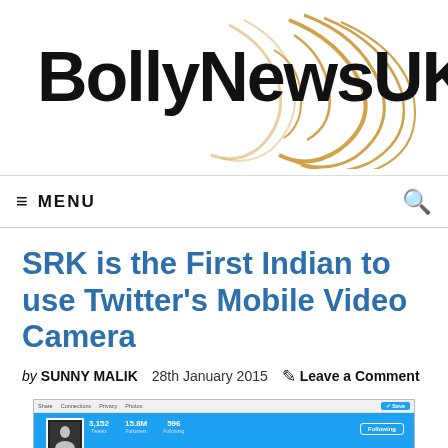BollyNewsUK
≡ MENU
SRK is the First Indian to use Twitter's Mobile Video Camera
by SUNNY MALIK   28th January 2015   ○ Leave a Comment
[Figure (screenshot): Screenshot of a Twitter profile page showing a user profile with blue header banner, profile photo, follower stats, and navigation tabs including Tweets, Tweets & replies, Photos & videos]